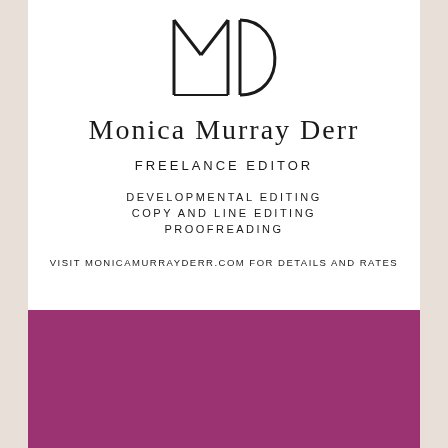[Figure (logo): MMD monogram logo in black on white background]
Monica Murray Derr
FREELANCE EDITOR
DEVELOPMENTAL EDITING
COPY AND LINE EDITING
PROOFREADING
VISIT MONICAMURRAYDERR.COM FOR DETAILS AND RATES
[Figure (illustration): Solid dark magenta/purple rectangular block]